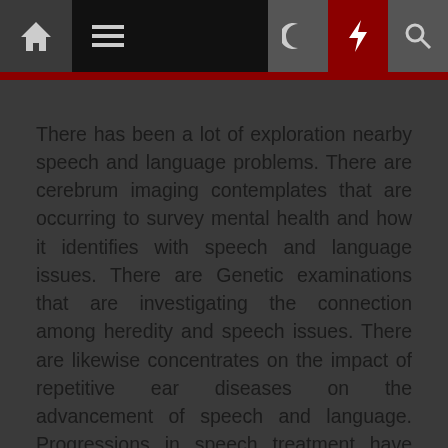Navigation bar with home, menu, search, moon, bolt, and search icons
There has been a lot of exploration nearby speech and language problems. There are cerebrum imaging contemplates that are occurring to survey mental health and how it identifies with speech and language issues. There are Genetic examinations that are investigating the connection among heredity and speech issues. There are likewise concentrates on the impact of repetitive ear diseases on the advancement of speech and language. Progressions in speech treatment have considered upgraded and improved treatment for individuals with speech, language, learning, and psychological disabilities. Present day and front line operations and gadgets have brought about an expansion in the quantity of lives being saved after horrible mishaps and ailments like strokes. With new